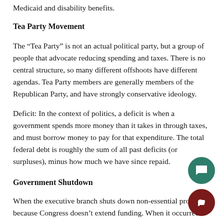Medicaid and disability benefits.
Tea Party Movement
The “Tea Party” is not an actual political party, but a group of people that advocate reducing spending and taxes. There is no central structure, so many different offshoots have different agendas. Tea Party members are generally members of the Republican Party, and have strongly conservative ideology.
Deficit: In the context of politics, a deficit is when a government spends more money than it takes in through taxes, and must borrow money to pay for that expenditure. The total federal debt is roughly the sum of all past deficits (or surpluses), minus how much we have since repaid.
Government Shutdown
When the executive branch shuts down non-essential programs because Congress doesn’t extend funding. When it occurred earlier this year, federal agencies like the Department of Education, the